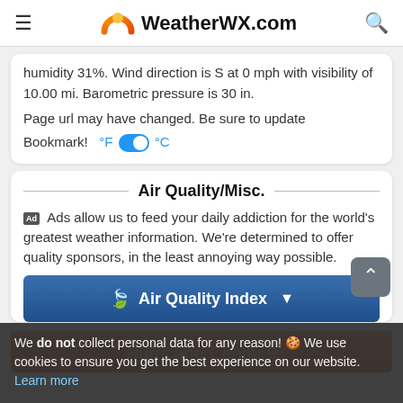WeatherWX.com
humidity 31%. Wind direction is S at 0 mph with visibility of 10.00 mi. Barometric pressure is 30 in. Page url may have changed. Be sure to update Bookmark! °F °C
Air Quality/Misc.
Ads allow us to feed your daily addiction for the world's greatest weather information. We're determined to offer quality sponsors, in the least annoying way possible.
[Figure (other): Air Quality Index button with leaf icon and dropdown arrow, blue gradient background]
[Figure (other): Hurricane Center button/bar with orange-red gradient background]
We do not collect personal data for any reason! 🍪 We use cookies to ensure you get the best experience on our website. Learn more